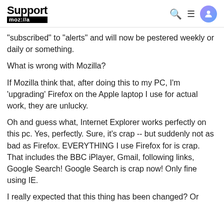Support mozilla//a
"subscribed" to "alerts" and will now be pestered weekly or daily or something.
What is wrong with Mozilla?
If Mozilla think that, after doing this to my PC, I'm 'upgrading' Firefox on the Apple laptop I use for actual work, they are unlucky.
Oh and guess what, Internet Explorer works perfectly on this pc. Yes, perfectly. Sure, it's crap -- but suddenly not as bad as Firefox. EVERYTHING I use Firefox for is crap. That includes the BBC iPlayer, Gmail, following links, Google Search! Google Search is crap now! Only fine using IE.
I really expected that this thing has been changed? Or